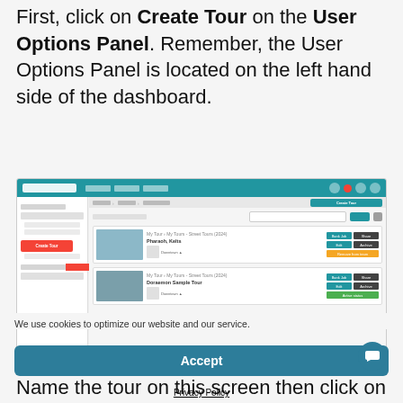First, click on Create Tour on the User Options Panel. Remember, the User Options Panel is located on the left hand side of the dashboard.
[Figure (screenshot): Screenshot of a dashboard interface with a left sidebar showing navigation items including a highlighted 'Create Tour' button in red, a red arrow pointing to it, and tour listing rows with action buttons on the right. The top bar is teal/blue.]
Name the tour on this screen then click on
We use cookies to optimize our website and our service.
Accept
Privacy Policy